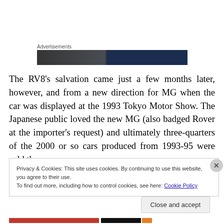Advertisements
[Figure (photo): Advertisement banner image — dark automotive photo with dark blue right portion]
The RV8's salvation came just a few months later, however, and from a new direction for MG when the car was displayed at the 1993 Tokyo Motor Show. The Japanese public loved the new MG (also badged Rover at the importer's request) and ultimately three-quarters of the 2000 or so cars produced from 1993-95 were sold there.
Privacy & Cookies: This site uses cookies. By continuing to use this website, you agree to their use.
To find out more, including how to control cookies, see here: Cookie Policy
Close and accept